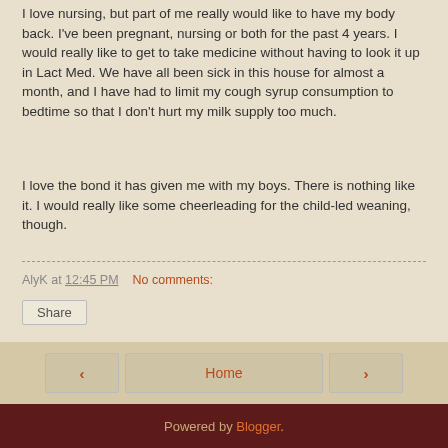I love nursing, but part of me really would like to have my body back. I've been pregnant, nursing or both for the past 4 years. I would really like to get to take medicine without having to look it up in Lact Med. We have all been sick in this house for almost a month, and I have had to limit my cough syrup consumption to bedtime so that I don't hurt my milk supply too much.
I love the bond it has given me with my boys. There is nothing like it. I would really like some cheerleading for the child-led weaning, though.
AlyK at 12:45 PM    No comments:
Share
Home
View web version
Powered by Blogger.